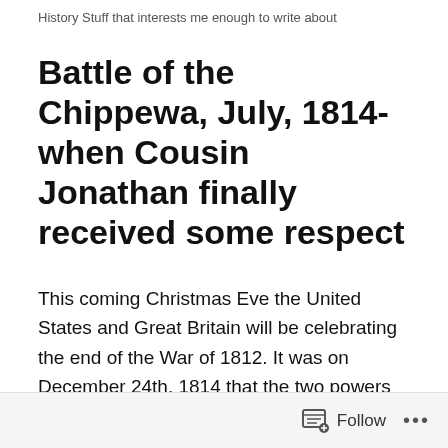History Stuff that interests me enough to write about
Battle of the Chippewa, July, 1814- when Cousin Jonathan finally received some respect
This coming Christmas Eve the United States and Great Britain will be celebrating the end of the War of 1812. It was on December 24th, 1814 that the two powers signed the Treaty of Ghent that ended the conflict.
It is unclear at this point whether President Obama and PM David Cameron intend to mark the occasion with a grand ceremony. I doubt it. In fact, I bet that many Americans or Brits are even aware that 200 years ago the